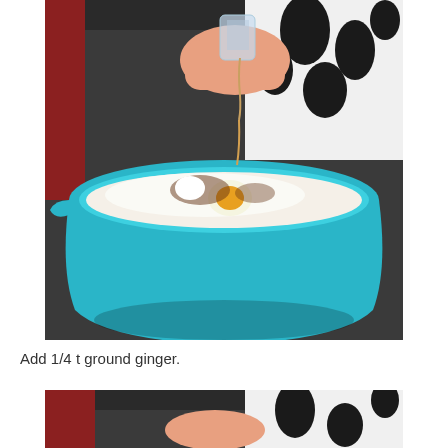[Figure (photo): A person pouring liquid from a small glass container into a large teal/blue mixing bowl containing flour, a cracked egg, spices (cinnamon/ginger), and cream. The person is wearing a black and white patterned blouse. The bowl is on a dark surface.]
Add 1/4 t ground ginger.
[Figure (photo): Partial view of the bottom of a second photo showing a similar scene with a red background visible at the top.]